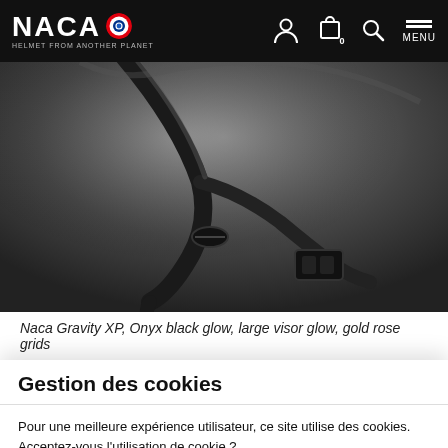NACA — HELMET FROM ANOTHER PLANET
[Figure (photo): Close-up of a black motorcycle helmet strap/buckle mechanism against a dark gradient background]
Naca Gravity XP, Onyx black glow, large visor glow, gold rose grids
Gestion des cookies
Pour une meilleure expérience utilisateur, ce site utilise des cookies. Acceptez-vous l'utilisation de cookie ?
Refuse | Settings | Accept
nufock® magnetic buckie. Glow large visor.